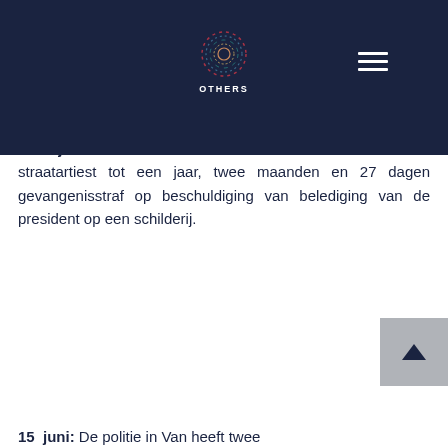OTHERS — navigation header with logo
...politiek dadat ze en van de president.
14 juni: Een rechtbank in Diyarbakir heeft beslist om de toegang tot een website te blokkeren die wordt gebruikt door het pro-Koerdische persbureau Etkin (ETHA).
15 juni: Een rechtbank in Istanbul veroordeelde een straatartiest tot een jaar, twee maanden en 27 dagen gevangenisstraf op beschuldiging van belediging van de president op een schilderij.
15 juni: De politie in Van heeft twee...